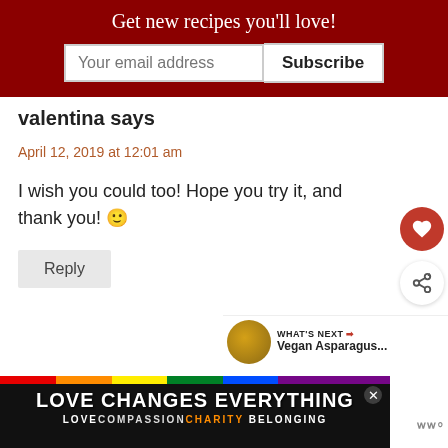Get new recipes you'll love!
valentina says
April 12, 2019 at 12:01 am
I wish you could too! Hope you try it, and thank you! 🙂
Reply
Dorothy at Shockingly Delicious says
[Figure (infographic): Advertisement banner: LOVE CHANGES EVERYTHING with rainbow stripe, LOVE COMPASSION CHARITY BELONGING subtitle]